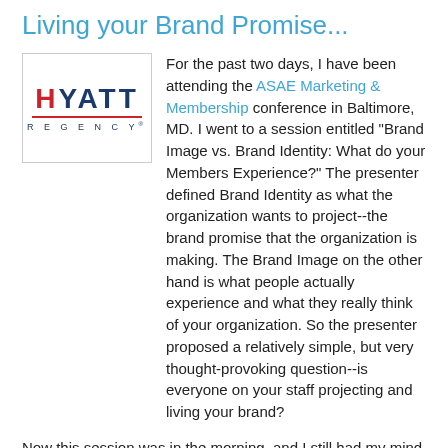Living your Brand Promise...
[Figure (logo): Hyatt Regency logo with red H and navy blue YATT text, red horizontal line, and REGENCY text below]
For the past two days, I have been attending the ASAE Marketing & Membership conference in Baltimore, MD. I went to a session entitled "Brand Image vs. Brand Identity: What do your Members Experience?" The presenter defined Brand Identity as what the organization wants to project--the brand promise that the organization is making. The Brand Image on the other hand is what people actually experience and what they really think of your organization. So the presenter proposed a relatively simple, but very thought-provoking question--is everyone on your staff projecting and living your brand?
Now this session was in the morning, and I still had my mind on my experience with the Hyatt Regency Hotel that I stayed at the previous night. I was excited to arrive at my hotel, because I booked late and the only thing I could find was a room a the luxurious, four-star Hyatt Regency Baltimore. I was shocked that the room cost almost $350 but I figured it